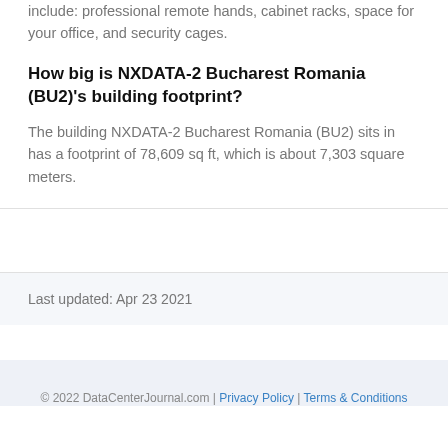include: professional remote hands, cabinet racks, space for your office, and security cages.
How big is NXDATA-2 Bucharest Romania (BU2)'s building footprint?
The building NXDATA-2 Bucharest Romania (BU2) sits in has a footprint of 78,609 sq ft, which is about 7,303 square meters.
Last updated: Apr 23 2021
© 2022 DataCenterJournal.com | Privacy Policy | Terms & Conditions